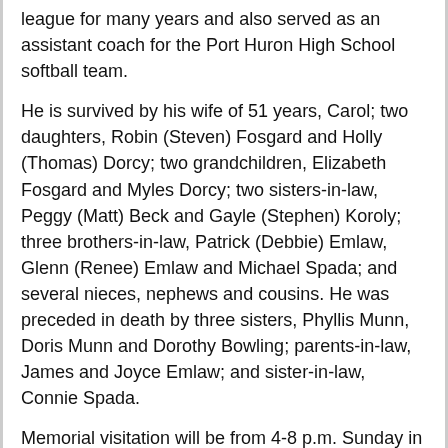league for many years and also served as an assistant coach for the Port Huron High School softball team.
He is survived by his wife of 51 years, Carol; two daughters, Robin (Steven) Fosgard and Holly (Thomas) Dorcy; two grandchildren, Elizabeth Fosgard and Myles Dorcy; two sisters-in-law, Peggy (Matt) Beck and Gayle (Stephen) Koroly; three brothers-in-law, Patrick (Debbie) Emlaw, Glenn (Renee) Emlaw and Michael Spada; and several nieces, nephews and cousins. He was preceded in death by three sisters, Phyllis Munn, Doris Munn and Dorothy Bowling; parents-in-law, James and Joyce Emlaw; and sister-in-law, Connie Spada.
Memorial visitation will be from 4-8 p.m. Sunday in Pollock-Randall Funeral Home. A limited number of people will be allowed in at a time. Please wear a mask for the safety and comfort of others.
A private family memorial service will be held at 12:00 noon on Monday, November 30, 2020 in Pollock-Randall Funeral Home. Dr. Joseph Baunoch will officiate. Family and friends may view the service livestream on George's obituary page of the funeral home website. All are welcome to gather in the funeral home parking lot at 12:20 for the procession to Allied